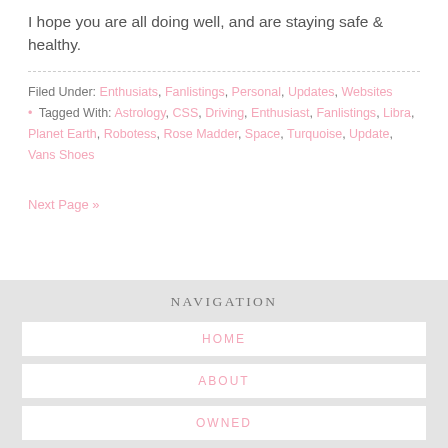I hope you are all doing well, and are staying safe & healthy.
Filed Under: Enthusiats, Fanlistings, Personal, Updates, Websites • Tagged With: Astrology, CSS, Driving, Enthusiast, Fanlistings, Libra, Planet Earth, Robotess, Rose Madder, Space, Turquoise, Update, Vans Shoes
Next Page »
NAVIGATION
HOME
ABOUT
OWNED